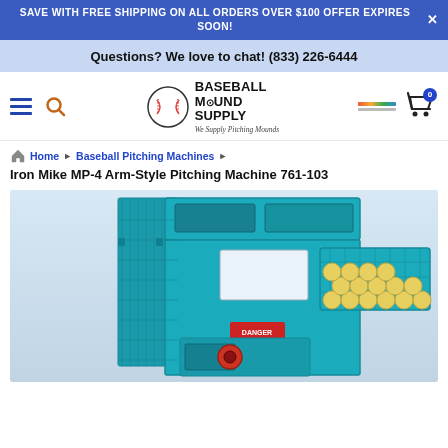SAVE WITH FREE SHIPPING ON ALL ORDERS OVER $100 OFFER EXPIRES SOON!
Questions? We love to chat! (833) 226-6444
[Figure (logo): Baseball Mound Supply logo with baseball icon and tagline 'We Supply Pitching Mounds']
Home > Baseball Pitching Machines > Iron Mike MP-4 Arm-Style Pitching Machine 761-103
Iron Mike MP-4 Arm-Style Pitching Machine 761-103
[Figure (photo): Iron Mike MP-4 Arm-Style Pitching Machine in teal/blue color with ball hopper filled with yellow baseballs, on a light blue-gray background]